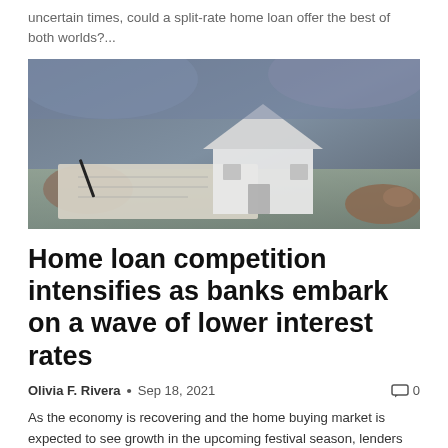uncertain times, could a split-rate home loan offer the best of both worlds?...
[Figure (photo): Person signing documents next to a white house model cutout on a desk, representing home loan/mortgage signing]
Home loan competition intensifies as banks embark on a wave of lower interest rates
Olivia F. Rivera • Sep 18, 2021  0
As the economy is recovering and the home buying market is expected to see growth in the upcoming festival season, lenders are rushing to lure home loan customers with rate cuts. 'interest.